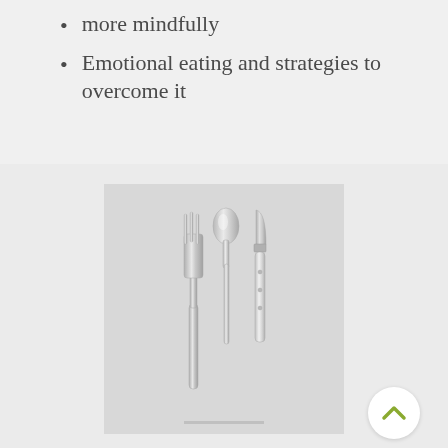more mindfully
Emotional eating and strategies to overcome it
[Figure (photo): Silver cutlery set (fork, spoon, and knife) arranged side by side on a light gray background, with a short horizontal line below them.]
Diet